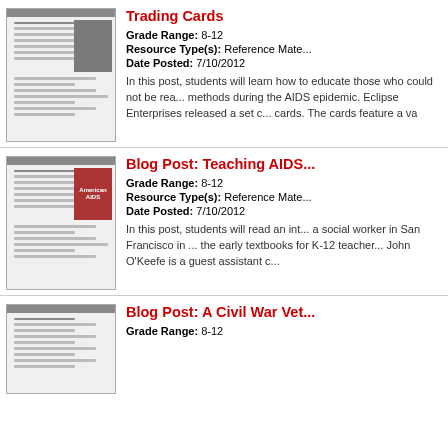[Figure (screenshot): Thumbnail screenshot of Trading Cards blog post page with basketball player image]
Trading Cards
Grade Range: 8-12
Resource Type(s): Reference Mate...
Date Posted: 7/10/2012
In this post, students will learn how to educate those who could not be rea... methods during the AIDS epidemic. Eclipse Enterprises released a set c... cards. The cards feature a va
[Figure (screenshot): Thumbnail screenshot of Blog Post Teaching AIDS in the early 1980s with AIDS red graphic]
Blog Post: Teaching AIDS...
Grade Range: 8-12
Resource Type(s): Reference Mate...
Date Posted: 7/10/2012
In this post, students will read an int... a social worker in San Francisco in ... the early textbooks for K-12 teacher... John O'Keefe is a guest assistant c...
[Figure (screenshot): Thumbnail screenshot of Blog Post A Civil War Veteran at the crossroads]
Blog Post: A Civil War Vet...
Grade Range: 8-12